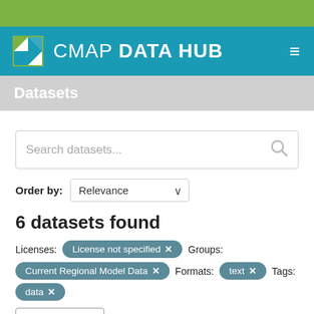CMAP DATA HUB
Datasets
Search datasets...
Order by: Relevance
6 datasets found
Licenses: License not specified ✕  Groups:
Current Regional Model Data ✕  Formats: text ✕  Tags:
data ✕
Filter Results